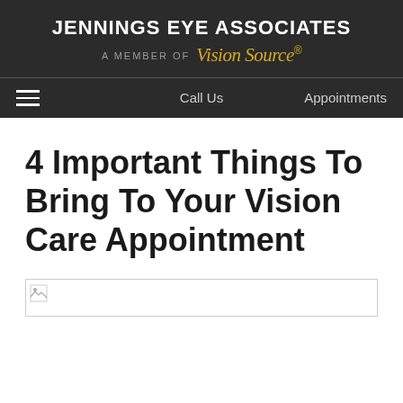JENNINGS EYE ASSOCIATES — A MEMBER OF Vision Source
4 Important Things To Bring To Your Vision Care Appointment
[Figure (photo): Broken/missing image placeholder at the top of the article content area]